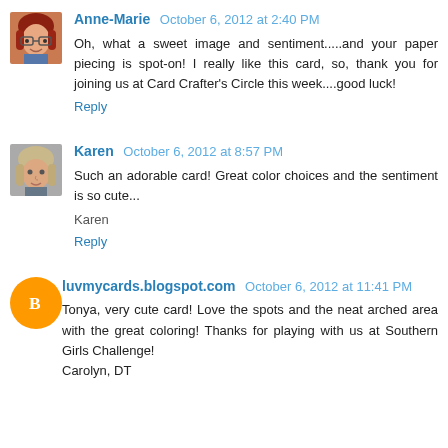[Figure (photo): Avatar photo of Anne-Marie, a woman with red hair and glasses]
Anne-Marie October 6, 2012 at 2:40 PM
Oh, what a sweet image and sentiment.....and your paper piecing is spot-on! I really like this card, so, thank you for joining us at Card Crafter's Circle this week....good luck!
Reply
[Figure (photo): Avatar photo of Karen, a woman with blonde hair]
Karen October 6, 2012 at 8:57 PM
Such an adorable card! Great color choices and the sentiment is so cute...
Karen
Reply
[Figure (logo): Blogger orange circle logo icon]
luvmycards.blogspot.com October 6, 2012 at 11:41 PM
Tonya, very cute card! Love the spots and the neat arched area with the great coloring! Thanks for playing with us at Southern Girls Challenge!
Carolyn, DT